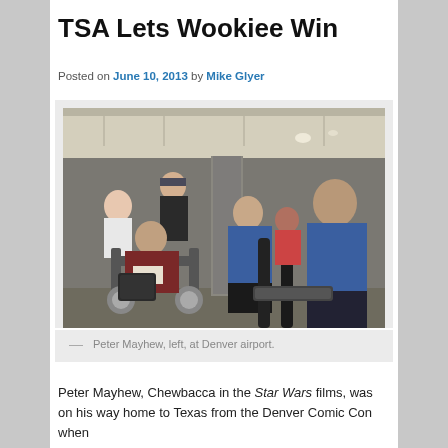TSA Lets Wookiee Win
Posted on June 10, 2013 by Mike Glyer
[Figure (photo): Peter Mayhew seated in a wheelchair at Denver airport, surrounded by TSA agents in blue uniforms and other travelers in an airport terminal.]
— Peter Mayhew, left, at Denver airport.
Peter Mayhew, Chewbacca in the Star Wars films, was on his way home to Texas from the Denver Comic Con when